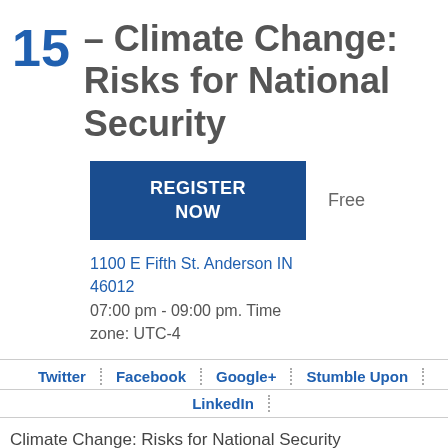15 – Climate Change: Risks for National Security
REGISTER NOW
Free
1100 E Fifth St. Anderson IN 46012
07:00 pm - 09:00 pm. Time zone: UTC-4
Twitter | Facebook | Google+ | Stumble Upon
LinkedIn
Climate Change: Risks for National Security
Date
October 15th 2014
Time